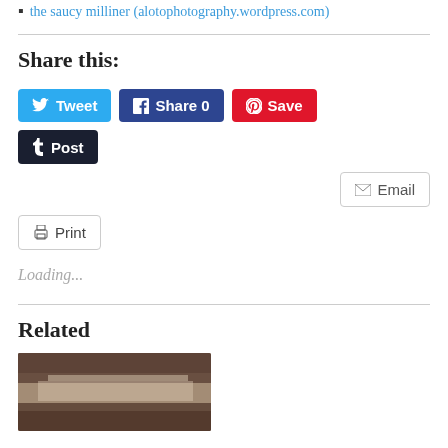the saucy milliner (alotophotography.wordpress.com)
Share this:
Tweet  Share 0  Save  Post  Email  Print
Loading...
Related
[Figure (photo): Photo of a brown hat with a light ribbon band, close-up view]